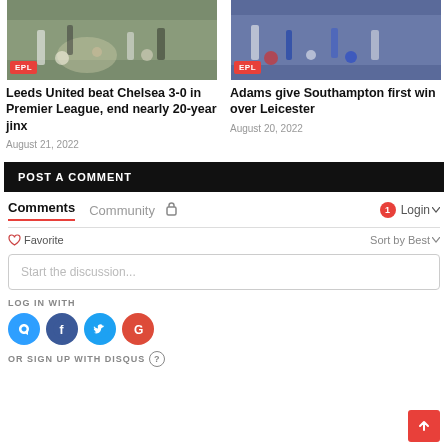[Figure (photo): Football match action photo with EPL badge, Leeds United vs Chelsea]
[Figure (photo): Football match action photo with EPL badge, Southampton vs Leicester]
Leeds United beat Chelsea 3-0 in Premier League, end nearly 20-year jinx
August 21, 2022
Adams give Southampton first win over Leicester
August 20, 2022
POST A COMMENT
Comments  Community  🔒  1  Login
♡ Favorite
Sort by Best
Start the discussion...
LOG IN WITH
[Figure (logo): Social login icons: Disqus, Facebook, Twitter, Google]
OR SIGN UP WITH DISQUS ?